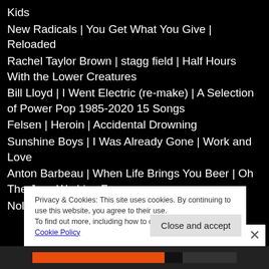Kids
New Radicals | You Get What You Give | Reloaded
Rachel Taylor Brown | stagg field | Half Hours With the Lower Creatures
Bill Lloyd | I Went Electric (re-make) | A Selection of Power Pop 1985-2020 15 Songs
Felsen | Heroin | Accidental Drowning
Sunshine Boys | I Was Already Gone | Work and Love
Anton Barbeau | When Life Brings You Beer | Oh The Joys We Live For
Nolan Voids | I'm Not Myself Anymore | The...
Privacy & Cookies: This site uses cookies. By continuing to use this website, you agree to their use.
To find out more, including how to control cookies, see here: Cookie Policy